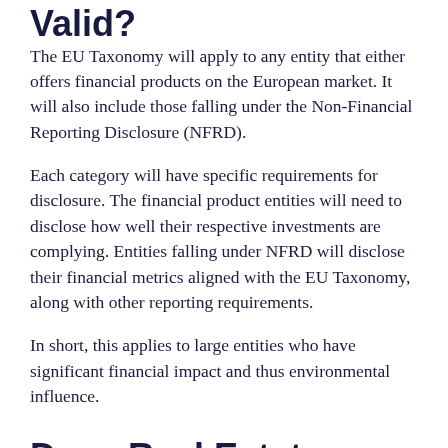Valid?
The EU Taxonomy will apply to any entity that either offers financial products on the European market. It will also include those falling under the Non-Financial Reporting Disclosure (NFRD).
Each category will have specific requirements for disclosure. The financial product entities will need to disclose how well their respective investments are complying. Entities falling under NFRD will disclose their financial metrics aligned with the EU Taxonomy, along with other reporting requirements.
In short, this applies to large entities who have significant financial impact and thus environmental influence.
Does Real Estate Come and